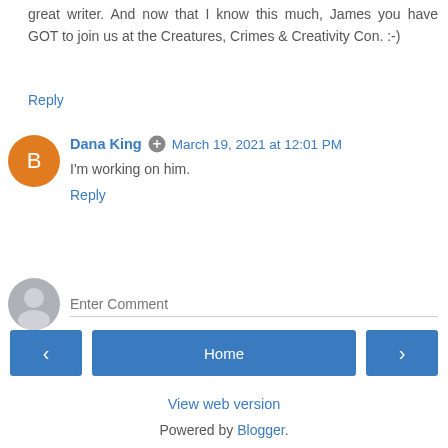great writer. And now that I know this much, James you have GOT to join us at the Creatures, Crimes & Creativity Con. :-)
Reply
Dana King  March 19, 2021 at 12:01 PM
I'm working on him.
Reply
Enter Comment
Home
View web version
Powered by Blogger.